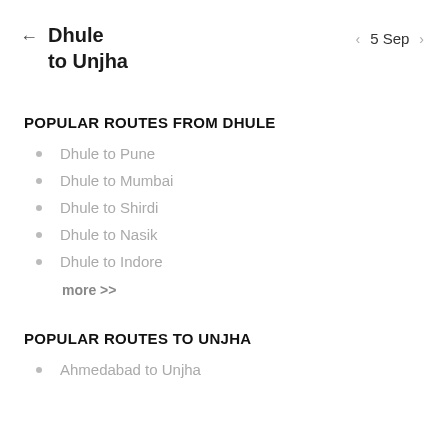← Dhule to Unjha    ‹ 5 Sep ›
POPULAR ROUTES FROM DHULE
Dhule to Pune
Dhule to Mumbai
Dhule to Shirdi
Dhule to Nasik
Dhule to Indore
more >>
POPULAR ROUTES TO UNJHA
Ahmedabad to Unjha